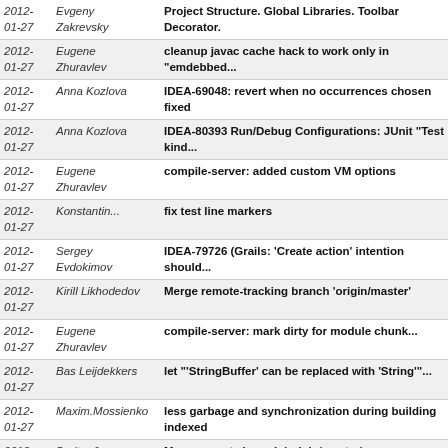| Date | Author | Message |
| --- | --- | --- |
| 2012-01-27 | Evgeny Zakrevsky | Project Structure. Global Libraries. Toolbar Decorator. |
| 2012-01-27 | Eugene Zhuravlev | cleanup javac cache hack to work only in "emdebbed... |
| 2012-01-27 | Anna Kozlova | IDEA-69048: revert when no occurrences chosen fixed |
| 2012-01-27 | Anna Kozlova | IDEA-80393 Run/Debug Configurations: JUnit "Test kind... |
| 2012-01-27 | Eugene Zhuravlev | compile-server: added custom VM options |
| 2012-01-27 | Konstantin... | fix test line markers |
| 2012-01-27 | Sergey Evdokimov | IDEA-79726 (Grails: 'Create action' intention should... |
| 2012-01-27 | Kirill Likhodedov | Merge remote-tracking branch 'origin/master' |
| 2012-01-27 | Eugene Zhuravlev | compile-server: mark dirty for module chunk... |
| 2012-01-27 | Bas Leijdekkers | let "'StringBuffer' can be replaced with 'String'"... |
| 2012-01-27 | Maxim.Mossienko | less garbage and synchronization during building indexed |
| 2012-01-27 | Dmitry Jemerov | Merge remote branch 'origin/master' |
| 2012-01-27 | Kirill Likhodedov | Merge remote-tracking branch 'origin/master' |